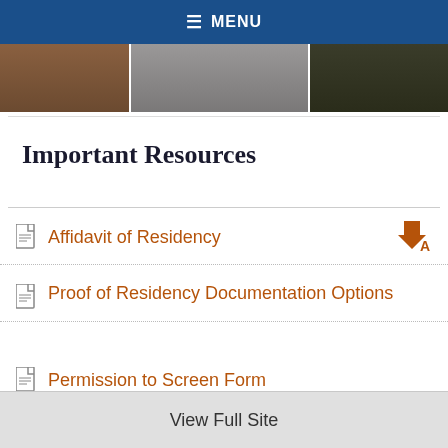MENU
[Figure (photo): Partial photo strip showing people, cropped at top of page]
Important Resources
Affidavit of Residency
Proof of Residency Documentation Options
Permission to Screen Form
View Full Site